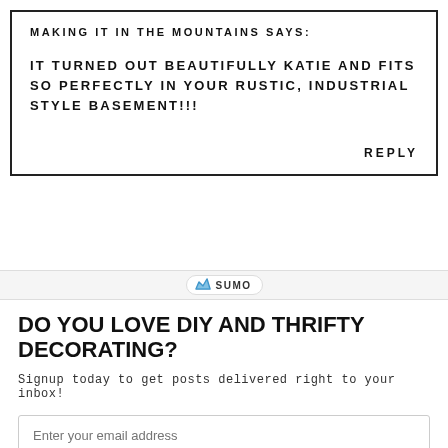MAKING IT IN THE MOUNTAINS SAYS:
IT TURNED OUT BEAUTIFULLY KATIE AND FITS SO PERFECTLY IN YOUR RUSTIC, INDUSTRIAL STYLE BASEMENT!!!
REPLY
[Figure (logo): Sumo badge/widget logo with crown icon and SUMO text]
×
DO YOU LOVE DIY AND THRIFTY DECORATING?
Signup today to get posts delivered right to your inbox!
Enter your email address
Subscribe Now